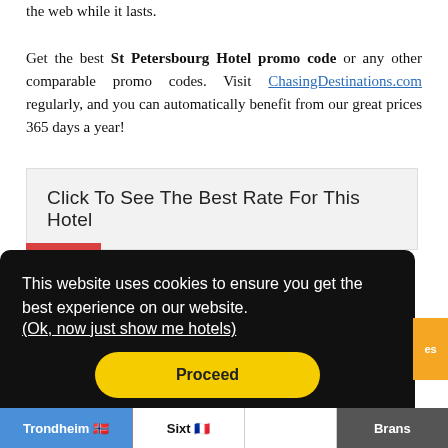the web while it lasts. Get the best St Petersbourg Hotel promo code or any other comparable promo codes. Visit ChasingDestinations.com regularly, and you can automatically benefit from our great prices 365 days a year!
Click To See The Best Rate For This Hotel
This website uses cookies to ensure you get the best experience on our website. (Ok, now just show me hotels)
Proceed
Trondheim | Sixt | Brans